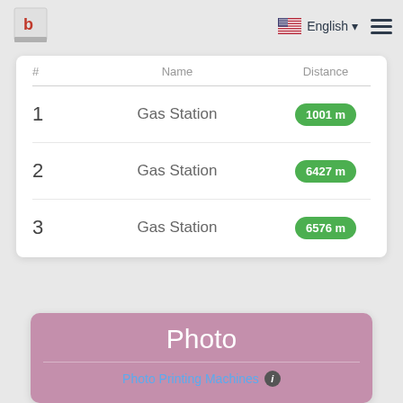English
| # | Name | Distance |
| --- | --- | --- |
| 1 | Gas Station | 1001 m |
| 2 | Gas Station | 6427 m |
| 3 | Gas Station | 6576 m |
Photo
Photo Printing Machines